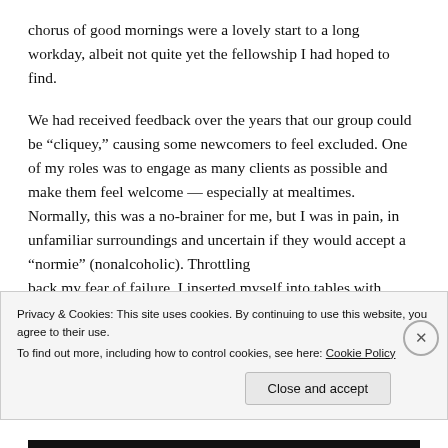chorus of good mornings were a lovely start to a long workday, albeit not quite yet the fellowship I had hoped to find.
We had received feedback over the years that our group could be “cliquey,” causing some newcomers to feel excluded. One of my roles was to engage as many clients as possible and make them feel welcome — especially at mealtimes. Normally, this was a no-brainer for me, but I was in pain, in unfamiliar surroundings and uncertain if they would accept a “normie” (nonalcoholic). Throttling back my fear of failure, I inserted myself into tables with
Privacy & Cookies: This site uses cookies. By continuing to use this website, you agree to their use.
To find out more, including how to control cookies, see here: Cookie Policy

Close and accept